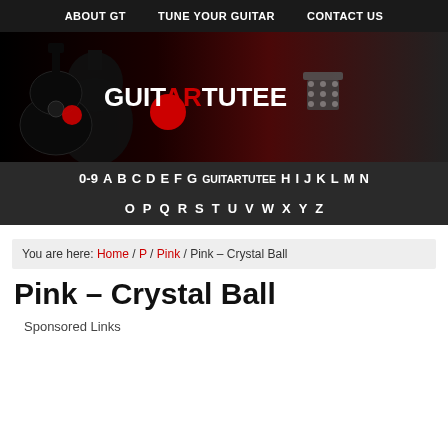ABOUT GT  TUNE YOUR GUITAR  CONTACT US
[Figure (logo): GuitarTutee website banner with guitar silhouette and logo text GUITARTUTEE on dark background]
0-9  A  B  C  D  E  F  G  GUITARTUTEE  H  I  J  K  L  M  N  O  P  Q  R  S  T  U  V  W  X  Y  Z
You are here: Home / P / Pink / Pink – Crystal Ball
Pink – Crystal Ball
Sponsored Links